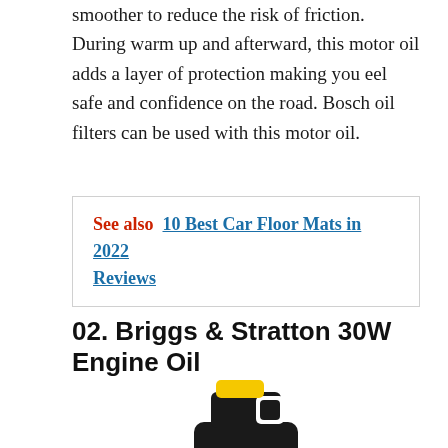smoother to reduce the risk of friction. During warm up and afterward, this motor oil adds a layer of protection making you eel safe and confidence on the road. Bosch oil filters can be used with this motor oil.
See also  10 Best Car Floor Mats in 2022 Reviews
02. Briggs & Stratton 30W Engine Oil
[Figure (photo): A black plastic jug/bottle of Briggs & Stratton 30W Engine Oil with a yellow cap, shown from a slight angle. The bottle has a handle and a label with red and white text.]